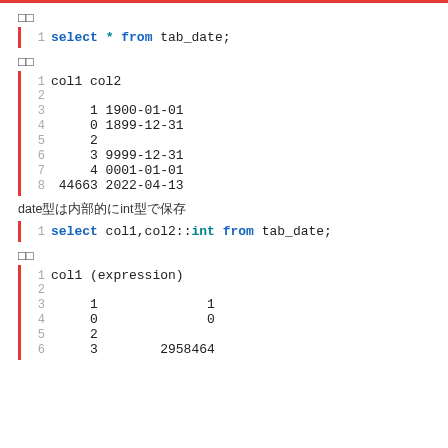□□
select * from tab_date;
□□
col1 col2

     1 1900-01-01
     0 1899-12-31
     2
     3 9999-12-31
     4 0001-01-01
 44663 2022-04-13
date型は内部的にint型で保存
select col1,col2::int from tab_date;
□□
col1 (expression)

     1          1
     0          0
     2
     3    2958464